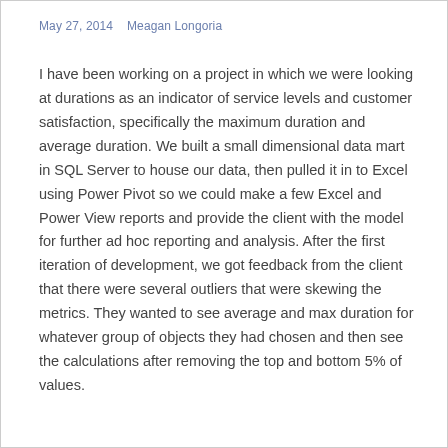May 27, 2014    Meagan Longoria
I have been working on a project in which we were looking at durations as an indicator of service levels and customer satisfaction, specifically the maximum duration and average duration. We built a small dimensional data mart in SQL Server to house our data, then pulled it in to Excel using Power Pivot so we could make a few Excel and Power View reports and provide the client with the model for further ad hoc reporting and analysis. After the first iteration of development, we got feedback from the client that there were several outliers that were skewing the metrics. They wanted to see average and max duration for whatever group of objects they had chosen and then see the calculations after removing the top and bottom 5% of values.